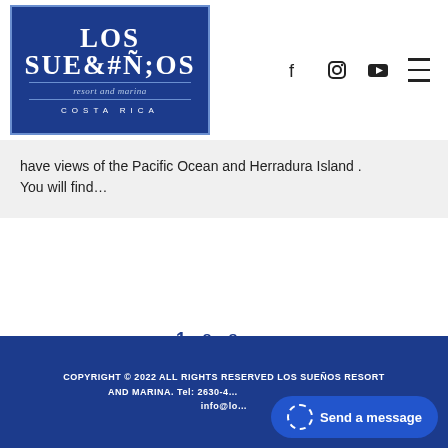[Figure (logo): Los Sueños Resort and Marina Costa Rica logo — white text on dark blue background with decorative border]
have views of the Pacific Ocean and Herradura Island . You will find…
1  2  3  →  (pagination)
COPYRIGHT © 2022 ALL RIGHTS RESERVED LOS SUEÑOS RESORT AND MARINA. Tel: 2630-4... info@lo...